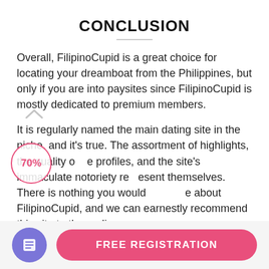CONCLUSION
Overall, FilipinoCupid is a great choice for locating your dreamboat from the Philippines, but only if you are into paysites since FilipinoCupid is mostly dedicated to premium members.
It is regularly named the main dating site in the niche, and it's true. The assortment of highlights, the quality of the profiles, and the site's immaculate notoriety represent themselves. There is nothing you would dislike about FilipinoCupid, and we can earnestly recommend this site to the audience.
[Figure (other): Rating overlay circle showing 70% in pink text with pink border, and a small arrow icon]
FREE REGISTRATION